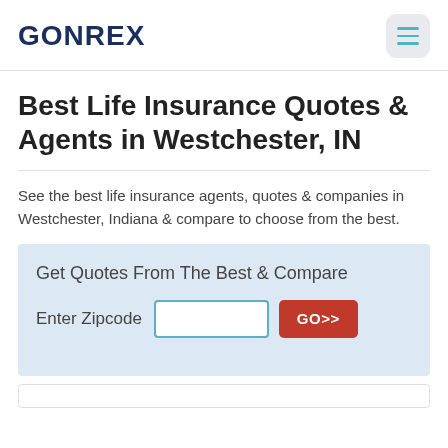GONREX
Best Life Insurance Quotes & Agents in Westchester, IN
See the best life insurance agents, quotes & companies in Westchester, Indiana & compare to choose from the best.
Get Quotes From The Best & Compare
Enter Zipcode  GO>>